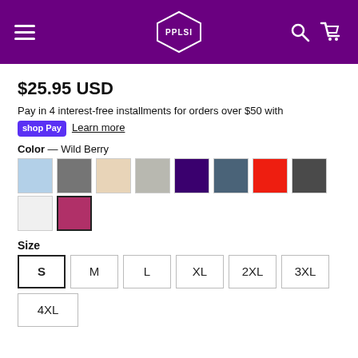PPLSI
$25.95 USD
Pay in 4 interest-free installments for orders over $50 with shop Pay  Learn more
Color — Wild Berry
[Figure (other): Color swatches: light blue, dark gray, beige, light gray, dark purple, slate blue, red, dark gray, white, wild berry (selected with border)]
Size
[Figure (other): Size selector buttons: S (selected), M, L, XL, 2XL, 3XL, 4XL]